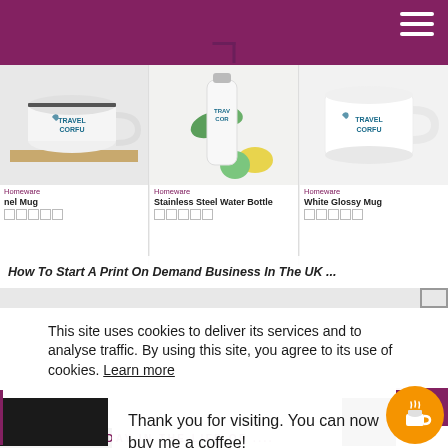Travel Corfu website header with hamburger menu
[Figure (screenshot): Three product thumbnails: Enamel Mug, Stainless Steel Water Bottle, White Glossy Mug, all branded with Travel Corfu logo]
Homeware
nel Mug
Homeware
Stainless Steel Water Bottle
Homeware
White Glossy Mug
How To Start A Print On Demand Business In The UK ...
This site uses cookies to deliver its services and to analyse traffic. By using this site, you agree to its use of cookies. Learn more
Thank you for visiting. You can now buy me a coffee!
DAY IN THE LIFE OF ....